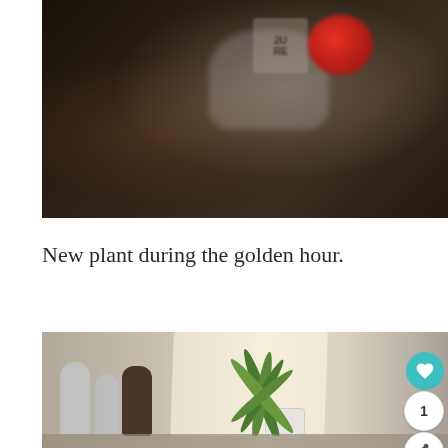[Figure (photo): Blurred close-up photo of items on a dark wooden table, including a glass or bottle with a label showing '2URE' or similar text, a red round object, and other blurred objects on a dark brown surface.]
New plant during the golden hour.
[Figure (photo): Photo of a shelf with crystal decanters, one filled with dark liquid, and a green plant in a white pot, illuminated by golden hour sunlight casting geometric shadows on the light gray wall.]